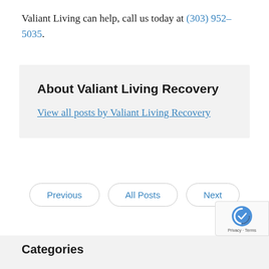Valiant Living can help, call us today at (303) 952-5035.
About Valiant Living Recovery
View all posts by Valiant Living Recovery
Previous
All Posts
Next
Categories